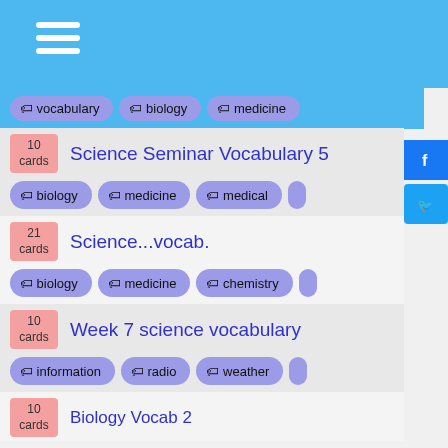Navigation header with hamburger menu
vocabulary, biology, medicine tags
10 cards - Science Seminar Vocabulary 5 - tags: biology, medicine, medical
21 cards - Science...vocab. - tags: biology, medicine, chemistry
10 cards - Week 7 science vocabulary - tags: information, radio, weather
10 cards - Biology Vocab 2 - tags: biology, vocabulary, anthropology
12 cards - LMS Life Science animal vocab - tags: biology, seventh, biochemistry
98 cards - french vocab module II - tags: french, vocabulary, spanish
53 cards - Daily Vocab/ OLR- Tolzrow